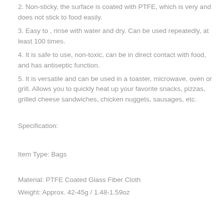2. Non-sticky, the surface is coated with PTFE, which is very and does not stick to food easily.
3. Easy to , rinse with water and dry. Can be used repeatedly, at least 100 times.
4. It is safe to use, non-toxic, can be in direct contact with food, and has antiseptic function.
5. It is versatile and can be used in a toaster, microwave, oven or grill. Allows you to quickly heat up your favorite snacks, pizzas, grilled cheese sandwiches, chicken nuggets, sausages, etc.
Specification:
Item Type: Bags
Material: PTFE Coated Glass Fiber Cloth
Weight: Approx. 42-45g / 1.48-1.59oz